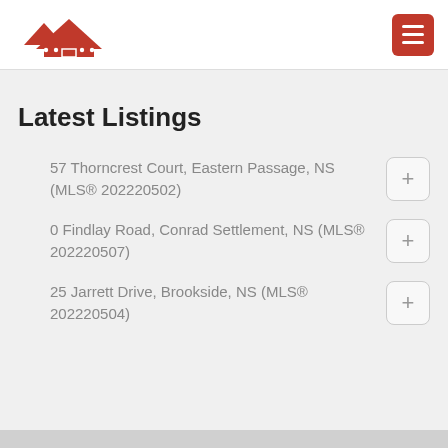[Figure (logo): Red house outline logo with multiple rooflines and dots]
[Figure (illustration): Red hamburger menu button with three white horizontal lines]
Latest Listings
57 Thorncrest Court, Eastern Passage, NS (MLS® 202220502)
0 Findlay Road, Conrad Settlement, NS (MLS® 202220507)
25 Jarrett Drive, Brookside, NS (MLS® 202220504)